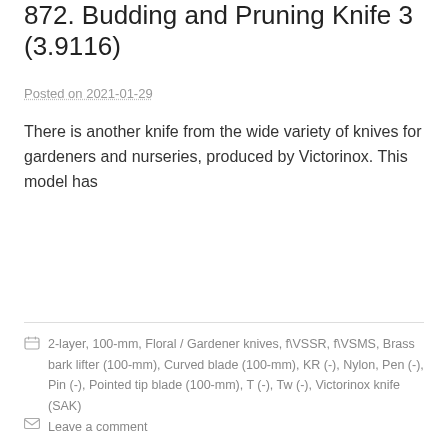872. Budding and Pruning Knife 3 (3.9116)
Posted on 2021-01-29
There is another knife from the wide variety of knives for gardeners and nurseries, produced by Victorinox. This model has
Read more..
2-layer, 100-mm, Floral / Gardener knives, f\VSSR, f\VSMS, Brass bark lifter (100-mm), Curved blade (100-mm), KR (-), Nylon, Pen (-), Pin (-), Pointed tip blade (100-mm), T (-), Tw (-), Victorinox knife (SAK)
Leave a comment